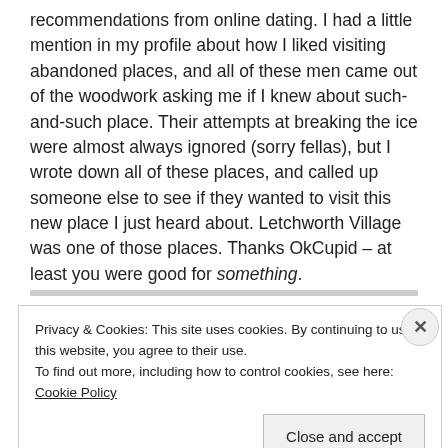recommendations from online dating. I had a little mention in my profile about how I liked visiting abandoned places, and all of these men came out of the woodwork asking me if I knew about such-and-such place. Their attempts at breaking the ice were almost always ignored (sorry fellas), but I wrote down all of these places, and called up someone else to see if they wanted to visit this new place I just heard about. Letchworth Village was one of those places. Thanks OkCupid – at least you were good for something.
Privacy & Cookies: This site uses cookies. By continuing to use this website, you agree to their use.
To find out more, including how to control cookies, see here: Cookie Policy